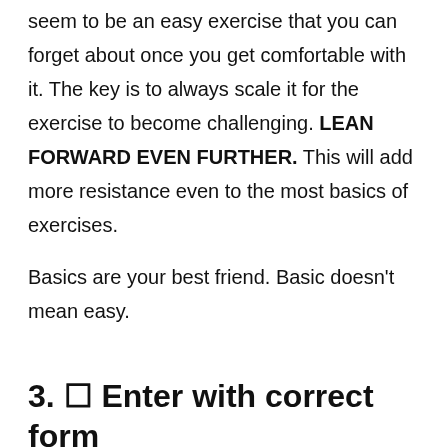seem to be an easy exercise that you can forget about once you get comfortable with it. The key is to always scale it for the exercise to become challenging. LEAN FORWARD EVEN FURTHER. This will add more resistance even to the most basics of exercises.
Basics are your best friend. Basic doesn't mean easy.
3. ☐ Enter with correct form
One way to ensure that you're holding the